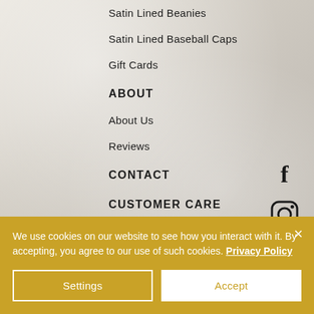[Figure (photo): Silky white/cream fabric background with soft folds and highlights]
Satin Lined Beanies
Satin Lined Baseball Caps
Gift Cards
ABOUT
[Figure (logo): Facebook 'f' icon in black]
About Us
[Figure (logo): Instagram camera icon in black]
Reviews
CONTACT
CUSTOMER CARE
Returns & Exchanges
We use cookies on our website to see how you interact with it. By accepting, you agree to our use of such cookies. Privacy Policy
Settings
Accept